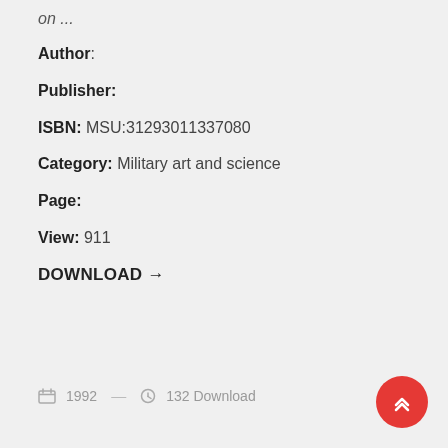on ...
Author:
Publisher:
ISBN: MSU:31293011337080
Category: Military art and science
Page:
View: 911
DOWNLOAD →
1992  —  132 Download